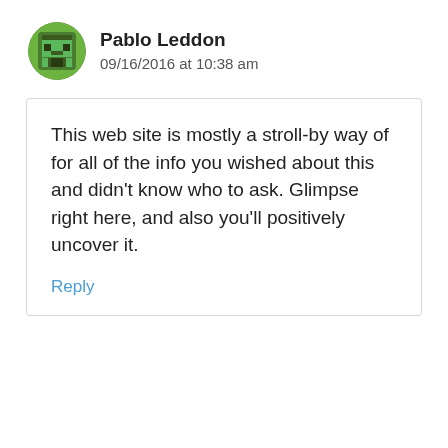[Figure (illustration): Pixel art avatar icon of a minecraft-style character face, green and dark brown colors, circular crop]
Pablo Leddon
09/16/2016 at 10:38 am
This web site is mostly a stroll-by way of for all of the info you wished about this and didn’t know who to ask. Glimpse right here, and also you’ll positively uncover it.
Reply